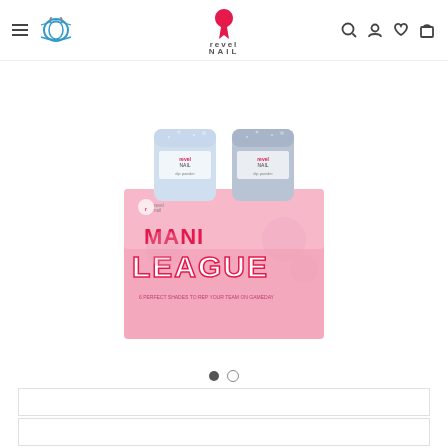Revel Nail — navigation header with menu, logo, search, account, wishlist, cart
[Figure (photo): Revel Nail 'Mani League' dip powder collection box in pink with two nail powder jars on top, showing pink box with bold pink and white text reading MANI LEAGUE with tagline '6 perfect shades to rep your team on gameday']
Carousel dot indicators: 1 filled, 1 empty
WHAT IT IS:
WHAT IT INCLUDES: